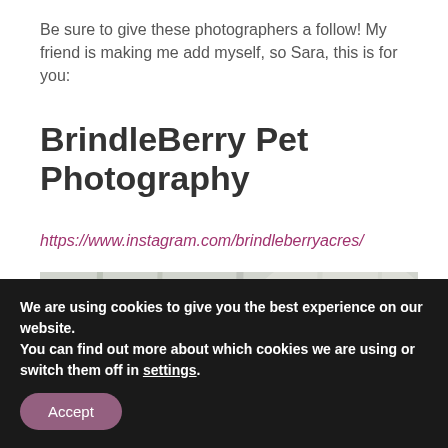Be sure to give these photographers a follow! My friend is making me add myself, so Sara, this is for you:
BrindleBerry Pet Photography
https://www.instagram.com/brindleberryacres/
[Figure (photo): Outdoor winter scene showing a wooden fence rail covered in snow, with blurred trees in the background]
We are using cookies to give you the best experience on our website.
You can find out more about which cookies we are using or switch them off in settings.
Accept